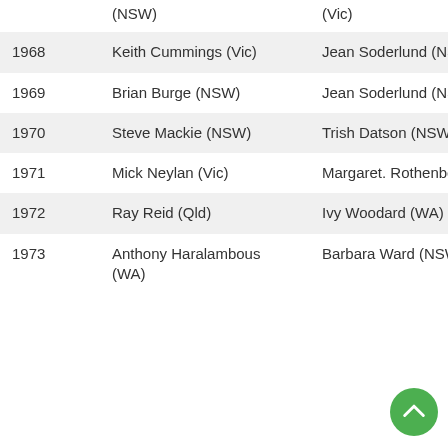| Year | Male Champion | Female Champion |
| --- | --- | --- |
| (NSW) |  | (Vic) |
| 1968 | Keith Cummings (Vic) | Jean Soderlund (NSW) |
| 1969 | Brian Burge (NSW) | Jean Soderlund (NSW) |
| 1970 | Steve Mackie (NSW) | Trish Datson (NSW) |
| 1971 | Mick Neylan (Vic) | Margaret. Rothenberg (SA) |
| 1972 | Ray Reid (Qld) | Ivy Woodard (WA) |
| 1973 | Anthony Haralambous (WA) | Barbara Ward (NSW) |